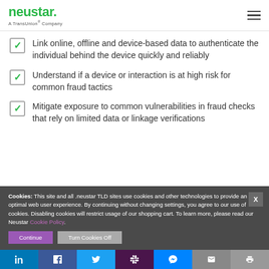neustar. A TransUnion® Company
Link online, offline and device-based data to authenticate the individual behind the device quickly and reliably
Understand if a device or interaction is at high risk for common fraud tactics
Mitigate exposure to common vulnerabilities in fraud checks that rely on limited data or linkage verifications
Cookies: This site and all .neustar TLD sites use cookies and other technologies to provide an optimal web user experience. By continuing without changing settings, you agree to our use of cookies. Disabling cookies will restrict usage of our shopping cart. To learn more, please read our Neustar Cookie Policy.
Social share bar: LinkedIn, Facebook, Twitter, Slack, Messenger, Email, Print